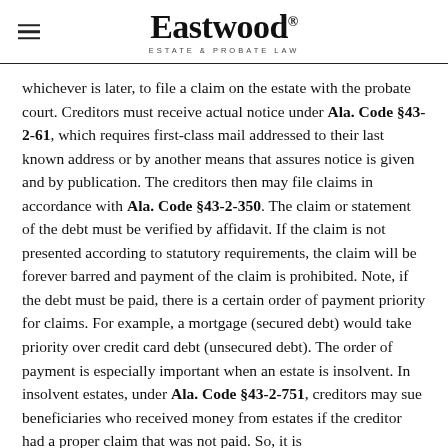Eastwood ESTATE & PROBATE LAW
whichever is later, to file a claim on the estate with the probate court. Creditors must receive actual notice under Ala. Code §43-2-61, which requires first-class mail addressed to their last known address or by another means that assures notice is given and by publication. The creditors then may file claims in accordance with Ala. Code §43-2-350. The claim or statement of the debt must be verified by affidavit. If the claim is not presented according to statutory requirements, the claim will be forever barred and payment of the claim is prohibited. Note, if the debt must be paid, there is a certain order of payment priority for claims. For example, a mortgage (secured debt) would take priority over credit card debt (unsecured debt). The order of payment is especially important when an estate is insolvent. In insolvent estates, under Ala. Code §43-2-751, creditors may sue beneficiaries who received money from estates if the creditor had a proper claim that was not paid. So, it is